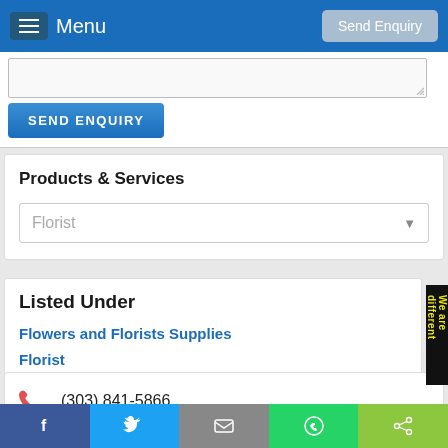Menu | Send Enquiry
[Figure (screenshot): Text area input box with resize handle]
SEND ENQUIRY
Products & Services
Florist
Listed Under
Flowers and Florists Supplies
Florist
(303) 841-5866
Karen Shain
6224 Progress Lane,
Facebook | Twitter | Email | WhatsApp | Share